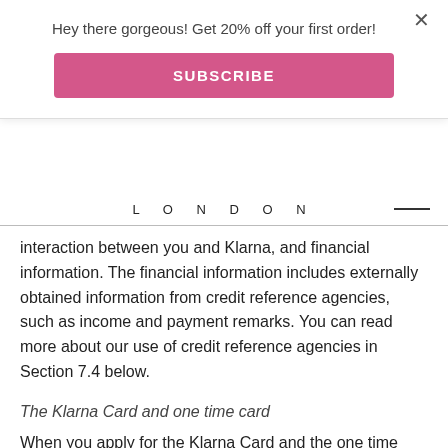Hey there gorgeous! Get 20% off your first order!
SUBSCRIBE
LONDON
interaction between you and Klarna, and financial information. The financial information includes externally obtained information from credit reference agencies, such as income and payment remarks. You can read more about our use of credit reference agencies in Section 7.4 below.
The Klarna Card and one time card
When you apply for the Klarna Card and the one time